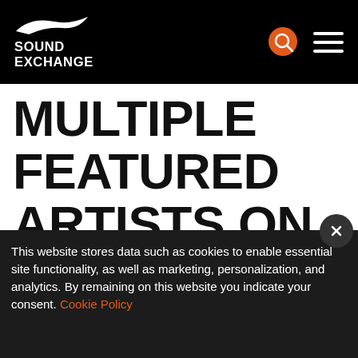[Figure (logo): SoundExchange logo with bird/swoosh graphic and bold white uppercase text on black header bar]
IF THERE ARE MULTIPLE FEATURED ARTISTS ON A SOUND RECORDING, WHO
This website stores data such as cookies to enable essential site functionality, as well as marketing, personalization, and analytics. By remaining on this website you indicate your consent. Cookie Policy